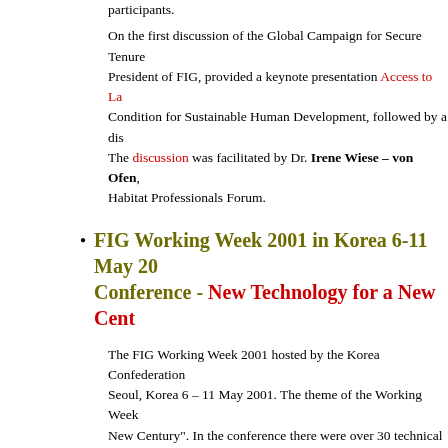participants.
On the first discussion of the Global Campaign for Secure Tenure President of FIG, provided a keynote presentation Access to La Condition for Sustainable Human Development, followed by a dis The discussion was facilitated by Dr. Irene Wiese – von Ofen, Habitat Professionals Forum.
FIG Working Week 2001 in Korea 6-11 May 20 Conference - New Technology for a New Cent
The FIG Working Week 2001 hosted by the Korea Confederation Seoul, Korea 6 – 11 May 2001. The theme of the Working Week New Century". In the conference there were over 30 technical se more than 150 papers were presented. Almost 1,000 participants conference. More than 250 foreign visitors from 50 countries enj More news and pictures from the Working Week on the FIG
Full papers (in .htm and .pdf-form and .pdf-formats) of all papers are The proceedings of the technical co hard copies. The abstracts are